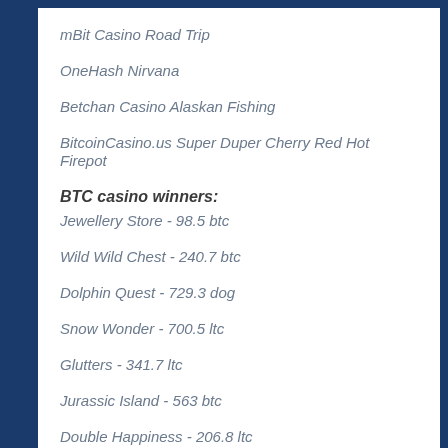mBit Casino Road Trip
OneHash Nirvana
Betchan Casino Alaskan Fishing
BitcoinCasino.us Super Duper Cherry Red Hot Firepot
BTC casino winners:
Jewellery Store - 98.5 btc
Wild Wild Chest - 240.7 btc
Dolphin Quest - 729.3 dog
Snow Wonder - 700.5 ltc
Glutters - 341.7 ltc
Jurassic Island - 563 btc
Double Happiness - 206.8 ltc